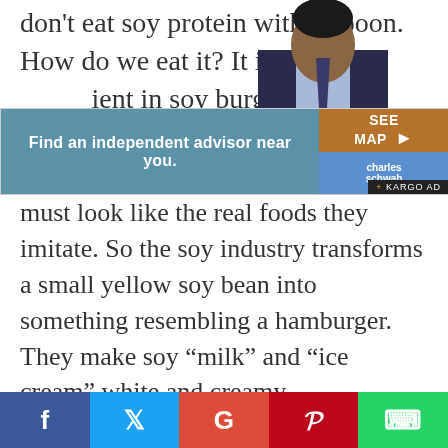don't eat soy protein with a spoon. How do we eat it? It is the main ingredient in soy burgers, ice
[Figure (photo): Person in a suit, upper body visible, partial image at top of page]
[Figure (other): Advertisement banner: 'Find an independent advisor near you.' with SEE MAP button and Charles Schwab logo, KARGO AD label]
must look like the real foods they imitate. So the soy industry transforms a small yellow soy bean into something resembling a hamburger. They make soy “milk” and “ice cream” white and creamy.
The other ingredients in these foods are no better for you than the soy protein that goes into them. Soy milk, for example, is simply a cocktail of soy protein, sugar, and vegetable oil. The “natural” MSG formed in soy processing is but even more MSG, and
[Figure (other): Social media sharing bar with Facebook, Twitter, Google+, Pinterest, and WhatsApp buttons]